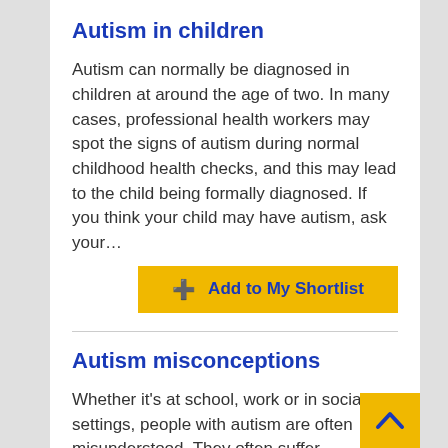Autism in children
Autism can normally be diagnosed in children at around the age of two. In many cases, professional health workers may spot the signs of autism during normal childhood health checks, and this may lead to the child being formally diagnosed. If you think your child may have autism, ask your…
Autism misconceptions
Whether it's at school, work or in social settings, people with autism are often misunderstood. They often suffer discrimination, intolerance and isolation,